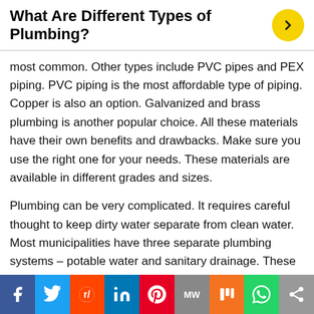What Are Different Types of Plumbing?
most common. Other types include PVC pipes and PEX piping. PVC piping is the most affordable type of piping. Copper is also an option. Galvanized and brass plumbing is another popular choice. All these materials have their own benefits and drawbacks. Make sure you use the right one for your needs. These materials are available in different grades and sizes.
Plumbing can be very complicated. It requires careful thought to keep dirty water separate from clean water. Most municipalities have three separate plumbing systems – potable water and sanitary drainage. These systems are crucial to your home's water supply and drainage. Regardless of your project's purpose, it's
[Figure (infographic): Social media share bar with icons: Facebook (blue), Twitter (light blue), Reddit (orange-red), LinkedIn (dark blue), Pinterest (red), MW (grey), Mix (orange), WhatsApp (green), Share (grey)]